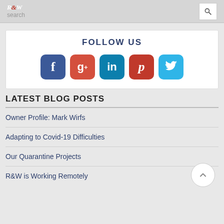R&W | search
FOLLOW US
[Figure (infographic): Five social media icon buttons: Facebook (blue), Google+ (red-orange), LinkedIn (teal), Pinterest (red), Twitter (light blue)]
LATEST BLOG POSTS
Owner Profile: Mark Wirfs
Adapting to Covid-19 Difficulties
Our Quarantine Projects
R&W is Working Remotely